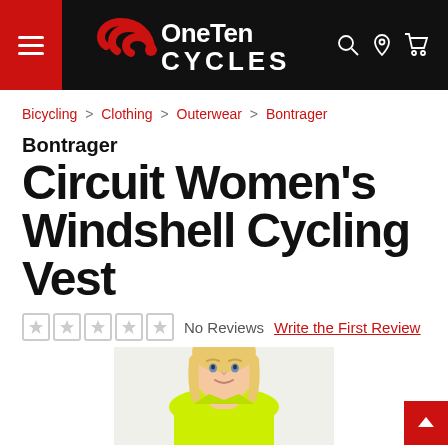[Figure (logo): OneTen Cycles logo with red swirl graphic on black header background, including hamburger menu icon, search icon, location icon, and cart icon]
Bicycling > Clothing > Outerwear > Bontrager
Bontrager Circuit Women's Windshell Cycling Vest
No Reviews  Write the First Review
[Figure (photo): Woman with blonde hair wearing a yellow/lime green cycling vest, shown from shoulders up, white background]